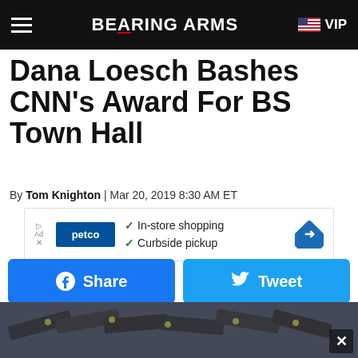BEARING ARMS | VIP
Dana Loesch Bashes CNN's Award For BS Town Hall
By Tom Knighton | Mar 20, 2019 8:30 AM ET
[Figure (other): Petco advertisement banner: In-store shopping, Curbside pickup]
[Figure (other): Facebook Share button and Twitter Tweet button]
[Figure (photo): Photo of multiple handguns displayed on a table at what appears to be a gun show or store, with yellow price tags visible]